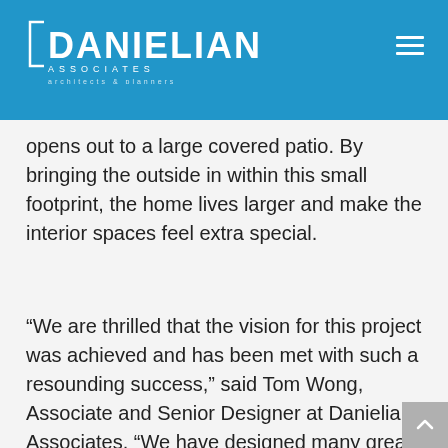Danielian Associates – architects & planners
opens out to a large covered patio. By bringing the outside in within this small footprint, the home lives larger and make the interior spaces feel extra special.
“We are thrilled that the vision for this project was achieved and has been met with such a resounding success,” said Tom Wong, Associate and Senior Designer at Danielian Associates. “We have designed many great contemporary projects in our office, but The District is truly special.” Combining a unique contemporary architectural design and open floor plans along with ample outdoor living and spectacular community’s amenities, The District at the Edge hit a home run with home